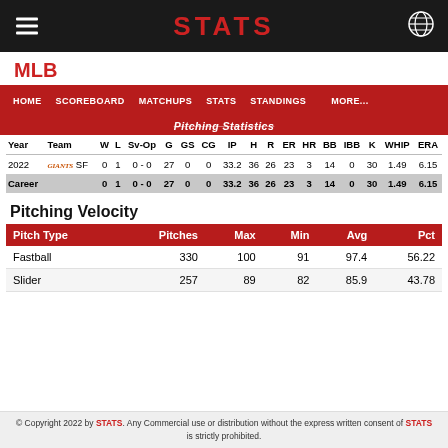STATS
MLB
HOME  SCOREBOARD  MATCHUPS  STATS  STANDINGS  MORE...
Pitching Statistics
| Year | Team | W | L | Sv-Op | G | GS | CG | IP | H | R | ER | HR | BB | IBB | K | WHIP | ERA |
| --- | --- | --- | --- | --- | --- | --- | --- | --- | --- | --- | --- | --- | --- | --- | --- | --- | --- |
| 2022 | SF | 0 | 1 | 0 - 0 | 27 | 0 | 0 | 33.2 | 36 | 26 | 23 | 3 | 14 | 0 | 30 | 1.49 | 6.15 |
| Career |  | 0 | 1 | 0 - 0 | 27 | 0 | 0 | 33.2 | 36 | 26 | 23 | 3 | 14 | 0 | 30 | 1.49 | 6.15 |
Pitching Velocity
| Pitch Type | Pitches | Max | Min | Avg | Pct |
| --- | --- | --- | --- | --- | --- |
| Fastball | 330 | 100 | 91 | 97.4 | 56.22 |
| Slider | 257 | 89 | 82 | 85.9 | 43.78 |
© Copyright 2022 by STATS. Any Commercial use or distribution without the express written consent of STATS is strictly prohibited.